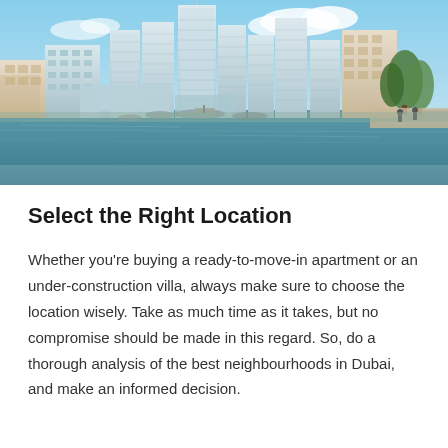[Figure (photo): Aerial/waterfront view of Dubai Marina skyline featuring tall glass residential towers, boats on the water, palm trees on the right, and a blue sky with clouds. The image shows modern high-rise buildings reflected in the water below.]
Select the Right Location
Whether you're buying a ready-to-move-in apartment or an under-construction villa, always make sure to choose the location wisely. Take as much time as it takes, but no compromise should be made in this regard. So, do a thorough analysis of the best neighbourhoods in Dubai, and make an informed decision.